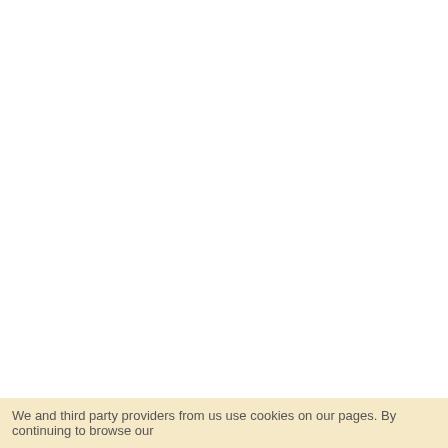33 Foundry Cl, RG27 9JA
Hook, Hampshire - South
How to get
Home Cleaning
upholstery cleaning
rental property cleaning
Today: 07:00 to 22:00
Company images
[Figure (photo): Person cleaning a kitchen surface]
[Figure (photo): Partial view of another company image]
We and third party providers from us use cookies on our pages. By continuing to browse our